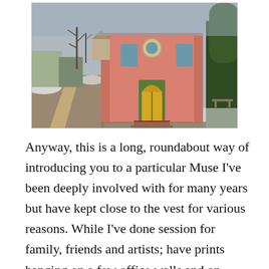[Figure (photo): A pink/salmon brick church building with yellow doors and arched windows, including a circular window near the top. Red steps lead to the entrance. The surroundings show a wintry small-town scene with bare trees, some snow on the ground, a dirt road to the left, and houses in the background.]
Anyway, this is a long, roundabout way of introducing you to a particular Muse I've been deeply involved with for many years but have kept close to the vest for various reasons. While I've done session for family, friends and artists; have prints hanging on a few office walls and on various websites, this has been a somewhat stealth pursuit. No particular reason other than, as I viewed the many talented professionals attempting to build their photography